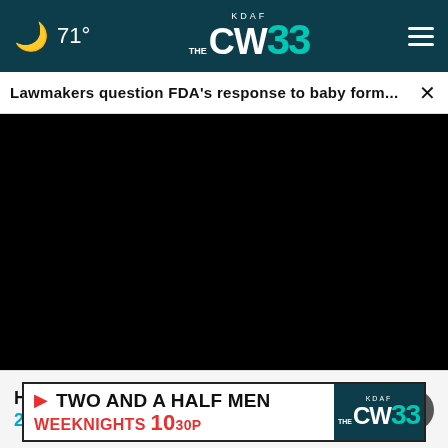🌙 71° | KDAF THE CW 33 | ≡
Lawmakers question FDA's response to baby form... ×
[Figure (screenshot): Black video player area]
Hands Down the Top Credit Card of 2022
[Figure (other): TWO AND A HALF MEN WEEKNIGHTS 10 30P | KDAF CW33 advertisement banner]